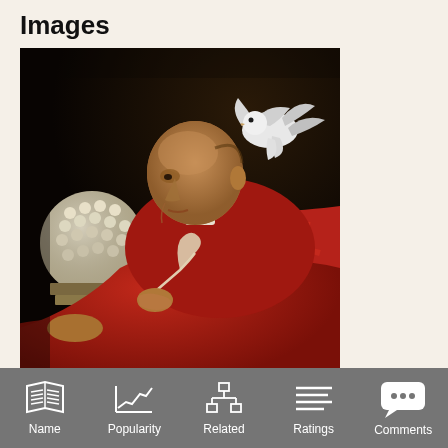Images
[Figure (illustration): Classical oil painting of an elderly cardinal or scholar in a red robe, seated and writing with a quill pen, with a white dove perched on his head/shoulder. Books and a globe-like object visible on the left. Dark background.]
Name  Popularity  Related  Ratings  Comments